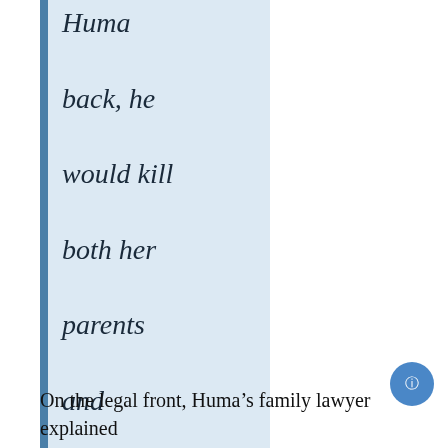Huma back, he would kill both her parents and anyone who tried to help them.”
On the legal front, Huma’s family lawyer explained